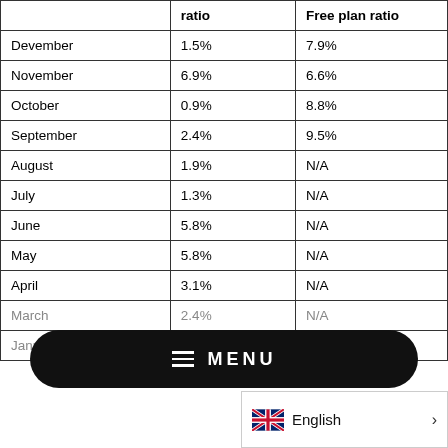|  | ratio | Free plan ratio |
| --- | --- | --- |
| Devember | 1.5% | 7.9% |
| November | 6.9% | 6.6% |
| October | 0.9% | 8.8% |
| September | 2.4% | 9.5% |
| August | 1.9% | N/A |
| July | 1.3% | N/A |
| June | 5.8% | N/A |
| May | 5.8% | N/A |
| April | 3.1% | N/A |
| March | 2.4% | N/A |
| January | 3.0% | N/A |